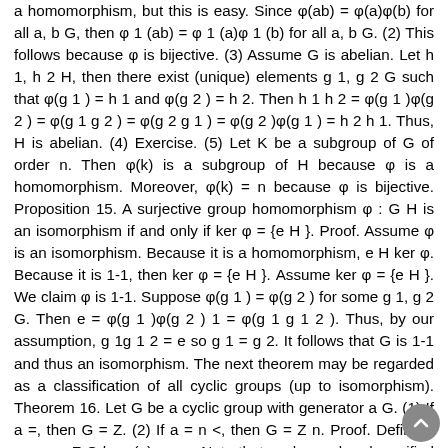a homomorphism, but this is easy. Since φ(ab) = φ(a)φ(b) for all a, b G, then φ 1 (ab) = φ 1 (a)φ 1 (b) for all a, b G. (2) This follows because φ is bijective. (3) Assume G is abelian. Let h 1, h 2 H, then there exist (unique) elements g 1, g 2 G such that φ(g 1 ) = h 1 and φ(g 2 ) = h 2. Then h 1 h 2 = φ(g 1 )φ(g 2 ) = φ(g 1 g 2 ) = φ(g 2 g 1 ) = φ(g 2 )φ(g 1 ) = h 2 h 1. Thus, H is abelian. (4) Exercise. (5) Let K be a subgroup of G of order n. Then φ(k) is a subgroup of H because φ is a homomorphism. Moreover, φ(k) = n because φ is bijective. Proposition 15. A surjective group homomorphism φ : G H is an isomorphism if and only if ker φ = {e H }. Proof. Assume φ is an isomorphism. Because it is a homomorphism, e H ker φ. Because it is 1-1, then ker φ = {e H }. Assume ker φ = {e H }. We claim φ is 1-1. Suppose φ(g 1 ) = φ(g 2 ) for some g 1, g 2 G. Then e = φ(g 1 )φ(g 2 ) 1 = φ(g 1 g 1 2 ). Thus, by our assumption, g 1g 1 2 = e so g 1 = g 2. It follows that G is 1-1 and thus an isomorphism. The next theorem may be regarded as a classification of all cyclic groups (up to isomorphism). Theorem 16. Let G be a cyclic group with generator a G. (1) If a =, then G = Z. (2) If a = n <, then G = Z n. Proof. Define a map φ : Z G by φ(n) = a n. Note that we have already verified that φ is a homomorphism. We verify in (1)